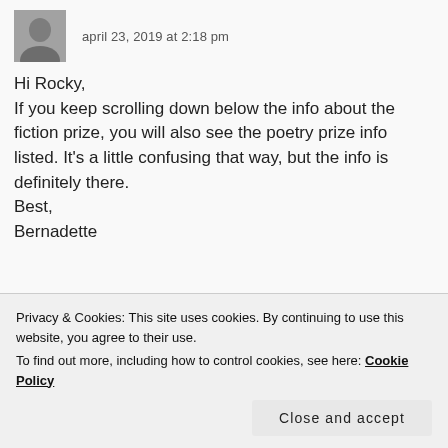[Figure (photo): Small profile photo of a person in dark clothing, smiling]
april 23, 2019 at 2:18 pm
Hi Rocky,
If you keep scrolling down below the info about the fiction prize, you will also see the poetry prize info listed. It’s a little confusing that way, but the info is definitely there.
Best,
Bernadette
★ Like
Reply
Privacy & Cookies: This site uses cookies. By continuing to use this website, you agree to their use.
To find out more, including how to control cookies, see here: Cookie Policy
Close and accept